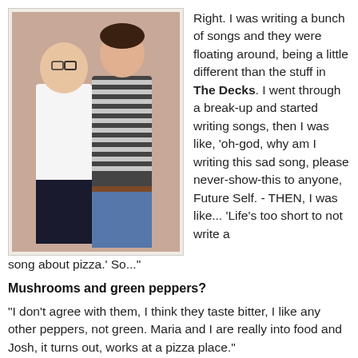[Figure (photo): Two young people posing together indoors against a beige wall. One person is leaning on the other. One wears glasses and a striped shirt, the other wears a white tank top.]
Right. I was writing a bunch of songs and they were floating around, being a little different than the stuff in The Decks. I went through a break-up and started writing songs, then I was like, 'oh-god, why am I writing this sad song, please never-show-this to anyone, Future Self. - THEN, I was like... 'Life's too short to not write a song about pizza.' So..."
Mushrooms and green peppers?
"I don't agree with them, I think they taste bitter, I like any other peppers, not green. Maria and I are really into food and Josh, it turns out, works at a pizza place."
Alright...